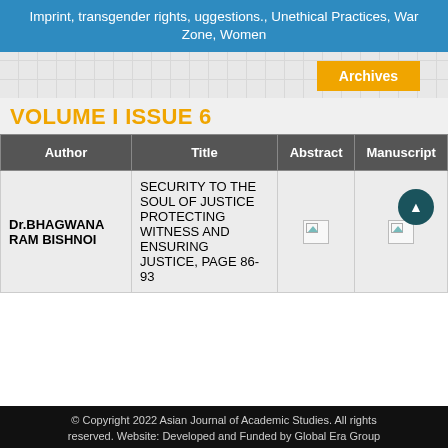Imprint, transgender rights, uggestions., Unethical Practices, War Zone, Women
Archives
VOLUME I ISSUE 6
| Author | Title | Abstract | Manuscript |
| --- | --- | --- | --- |
| Dr.BHAGWANA RAM BISHNOI | SECURITY TO THE SOUL OF JUSTICE PROTECTING WITNESS AND ENSURING JUSTICE, PAGE 86-93 | [icon] | [icon] |
© Copyright 2022 Asian Journal of Academic Studies. All rights reserved. Website: Developed and Funded by Global Era Group